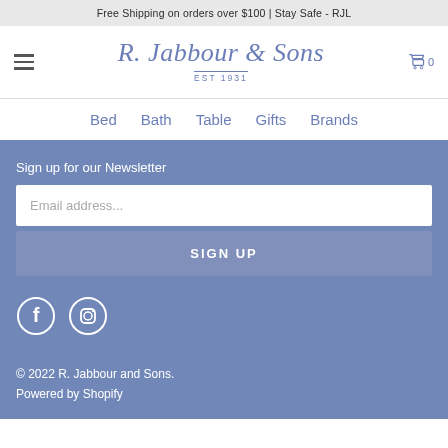Free Shipping on orders over $100 | Stay Safe - RJL
[Figure (logo): R. Jabbour & Sons EST 1931 logo in cursive blue text]
Bed  Bath  Table  Gifts  Brands
Sign up for our Newsletter
Email address...
SIGN UP
[Figure (other): Facebook and Instagram social media icons in white circles]
© 2022 R. Jabbour and Sons.
Powered by Shopify